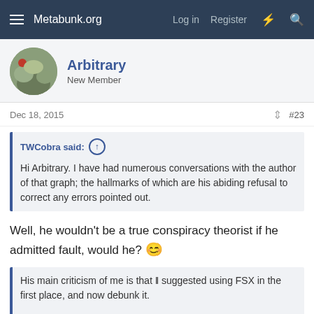Metabunk.org   Log in   Register
Arbitrary
New Member
Dec 18, 2015   #23
TWCobra said: ↑
Hi Arbitrary. I have had numerous conversations with the author of that graph; the hallmarks of which are his abiding refusal to correct any errors pointed out.
Well, he wouldn't be a true conspiracy theorist if he admitted fault, would he? 🙂
His main criticism of me is that I suggested using FSX in the first place, and now debunk it.

I did suggest it, but very quickly realised that a 35 dollar Flight Sim...